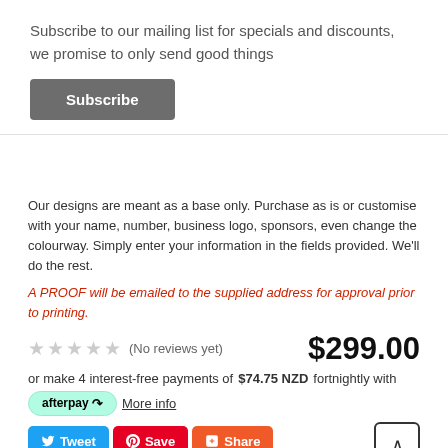Subscribe to our mailing list for specials and discounts, we promise to only send good things
Subscribe
Our designs are meant as a base only. Purchase as is or customise with your name, number, business logo, sponsors, even change the colourway. Simply enter your information in the fields provided. We'll do the rest.
A PROOF will be emailed to the supplied address for approval prior to printing.
(No reviews yet)   $299.00
or make 4 interest-free payments of $74.75 NZD fortnightly with afterpay More info
Tweet  Save  Share
SHIPPING:   Calculated at Checkout